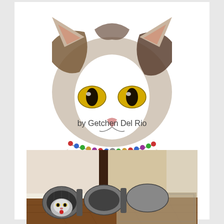[Figure (illustration): Watercolor illustration of a cat with yellow eyes, wearing a colorful bead necklace and a striped scarf with fringe, on a white background with a small artist signature in the lower left]
by Getchen Del Rio
[Figure (photo): Photograph of a cat inside a collapsible fabric tunnel toy, positioned near a doorway on a hardwood floor, with a patterned rug visible in the background]